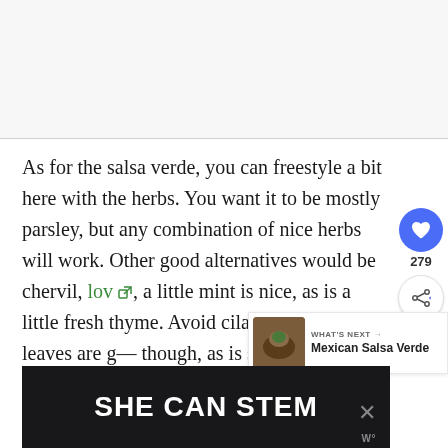As for the salsa verde, you can freestyle a bit here with the herbs. You want it to be mostly parsley, but any combination of nice herbs will work. Other good alternatives would be chervil, lovage, a little mint is nice, as is a little fresh thyme. Avoid cilantro here. Celery leaves are good though, as is savory. A little fresh oregano is good.
[Figure (other): Social media sidebar with heart/like button showing 279 likes, and a share button]
[Figure (other): What's Next promo box showing Mexican Salsa Verde with a thumbnail image of salsa]
[Figure (other): Advertisement banner with dark background reading SHE CAN STEM with a close button and logo]